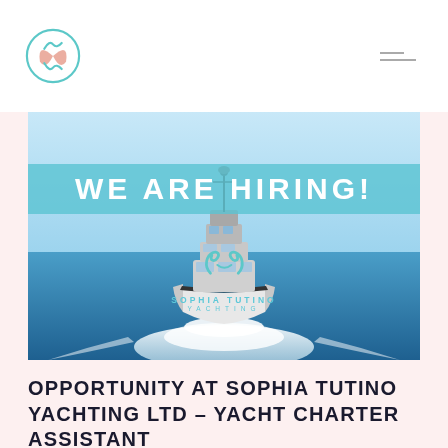Sophia Tutino Yachting Ltd logo and navigation
[Figure (photo): A large motor yacht sailing at speed on open blue sea with white wake, overlaid with 'WE ARE HIRING!' text banner and Sophia Tutino Yachting brand logo]
OPPORTUNITY AT SOPHIA TUTINO YACHTING LTD – YACHT CHARTER ASSISTANT